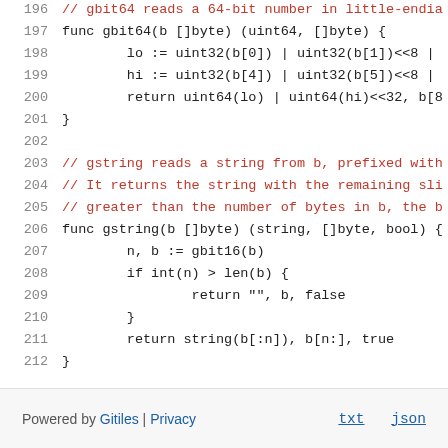[Figure (screenshot): Source code snippet in Go language showing functions gbit64 and gstring, with line numbers 196-212. Comments are in red, code in dark/black monospace font on white background.]
Powered by Gitiles | Privacy    txt  json